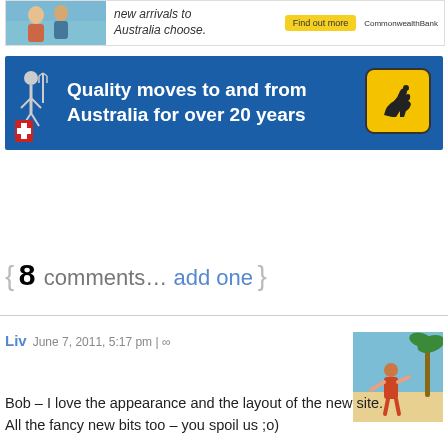[Figure (illustration): Top banner advertisement showing young people with text about new arrivals to Australia, a yellow Find Out More button, and CommonwealthBank logo]
[Figure (illustration): Blue banner advertisement reading 'Quality moves to and from Australia for over 20 years' with a kangaroo road sign and a person with trident logo on left]
{ 8 comments… add one }
Liv  June 7, 2011, 5:17 pm | ∞
[Figure (photo): Small avatar photo of a person on a beach with palm trees]
Bob – I love the appearance and the layout of the new site. All the fancy new bits too – you spoil us ;o)